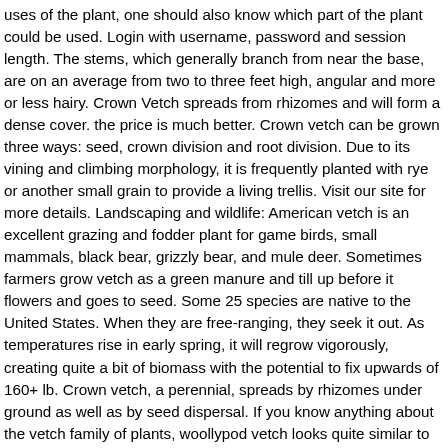uses of the plant, one should also know which part of the plant could be used. Login with username, password and session length. The stems, which generally branch from near the base, are on an average from two to three feet high, angular and more or less hairy. Crown Vetch spreads from rhizomes and will form a dense cover. the price is much better. Crown vetch can be grown three ways: seed, crown division and root division. Due to its vining and climbing morphology, it is frequently planted with rye or another small grain to provide a living trellis. Visit our site for more details. Landscaping and wildlife: American vetch is an excellent grazing and fodder plant for game birds, small mammals, black bear, grizzly bear, and mule deer. Sometimes  farmers grow vetch as a green manure and till up before it flowers and goes to seed. Some 25 species are native to the United States. When they are free-ranging, they seek it out. As temperatures rise in early spring, it will regrow vigorously, creating quite a bit of biomass with the potential to fix upwards of 160+ lb. Crown vetch, a perennial, spreads by rhizomes under ground as well as by seed dispersal. If you know anything about the vetch family of plants, woollypod vetch looks quite similar to other annual and perennial vetches. Hairy vetch and common vetch are widely used as cool-season cover crops. It is widely adapted and hardy in the north with snow cover. The toxin in hairy vetch responsible for the symptoms is not known. Planted in the fall, it will grow slowly before going dormant over the winter. Similar Images . Woollypod vetch plants are hardier plants that are...